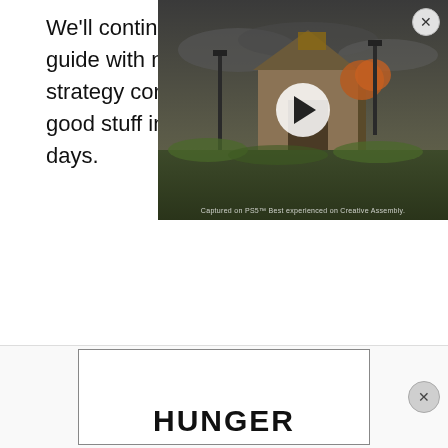We'll continue to update this guide with new links to strategy content and other good stuff in the coming days.
[Figure (screenshot): Video player overlay showing a post-apocalyptic outdoor scene with lamp posts, a building, and autumn trees under dark clouds. A white circular play button is centered on the video thumbnail. A close (X) button is in the upper right corner.]
[Figure (screenshot): Advertisement banner with a border containing large bold text reading 'HUNGER' at the bottom, on a white background.]